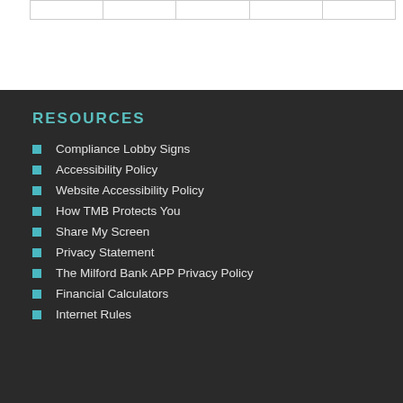|   |   |   |   |   |
RESOURCES
Compliance Lobby Signs
Accessibility Policy
Website Accessibility Policy
How TMB Protects You
Share My Screen
Privacy Statement
The Milford Bank APP Privacy Policy
Financial Calculators
Internet Rules